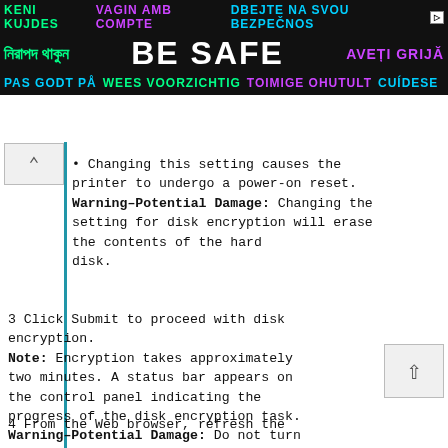[Figure (infographic): Safety advertisement banner with multilingual 'BE SAFE' text on dark background]
Changing this setting causes the printer to undergo a power-on reset. Warning–Potential Damage: Changing the setting for disk encryption will erase the contents of the hard disk.
3 Click Submit to proceed with disk encryption.
Note: Encryption takes approximately two minutes. A status bar appears on the control panel indicating the progress of the disk encryption task.
Warning–Potential Damage: Do not turn off the printer during the encryption process.
4 From the Web browser, refresh the